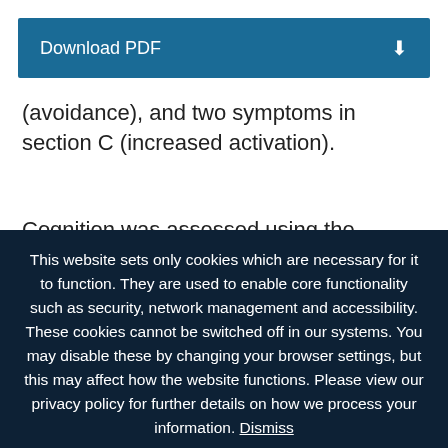[Figure (other): Download PDF button bar with dark blue background and download icon]
(avoidance), and two symptoms in section C (increased activation).
Cognition was assessed using the Montreal
This website sets only cookies which are necessary for it to function. They are used to enable core functionality such as security, network management and accessibility. These cookies cannot be switched off in our systems. You may disable these by changing your browser settings, but this may affect how the website functions. Please view our privacy policy for further details on how we process your information. Dismiss